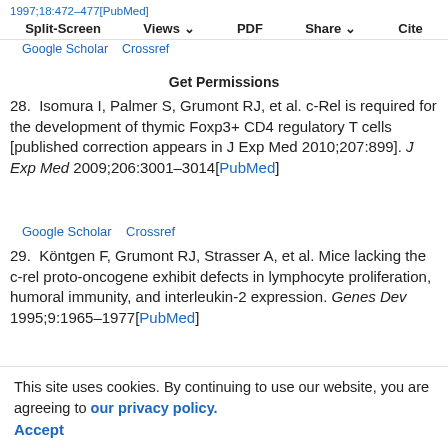1997;18:472–477[PubMed]  Split-Screen  Views  PDF  Share  Cite  Google Scholar  Crossref
Get Permissions
28. Isomura I, Palmer S, Grumont RJ, et al. c-Rel is required for the development of thymic Foxp3+ CD4 regulatory T cells [published correction appears in J Exp Med 2010;207:899]. J Exp Med 2009;206:3001–3014[PubMed]
Google Scholar  Crossref
29. Köntgen F, Grumont RJ, Strasser A, et al. Mice lacking the c-rel proto-oncogene exhibit defects in lymphocyte proliferation, humoral immunity, and interleukin-2 expression. Genes Dev 1995;9:1965–1977[PubMed]
Google Scholar  Crossref
This site uses cookies. By continuing to use our website, you are agreeing to our privacy policy.
Accept
30. Lou HC, Jin Z, Taimaro J, Angelin S, Smith KA, Kroll M... c-Rel is crucial for lymphocyte proliferation but dispensable for T cell effector function. Int